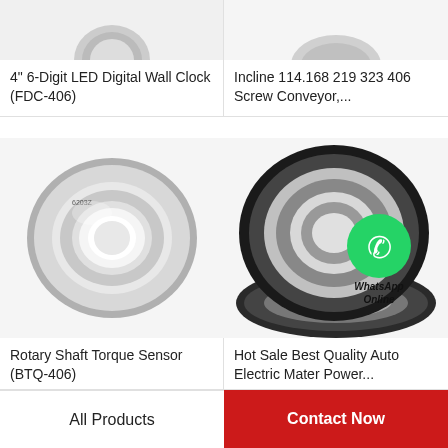[Figure (photo): Partial top view of a digital LED wall clock product image, cropped at top]
[Figure (photo): Partial top view of a screw conveyor product image, cropped at top]
4" 6-Digit LED Digital Wall Clock (FDC-406)
Incline 114.168 219 323 406 Screw Conveyor,...
[Figure (photo): Rotary shaft torque sensor bearing product photo on white background]
[Figure (photo): Auto electric motor power bearing product with WhatsApp Online badge overlay]
Rotary Shaft Torque Sensor (BTQ-406)
Hot Sale Best Quality Auto Electric Mater Power...
All Products
Contact Now